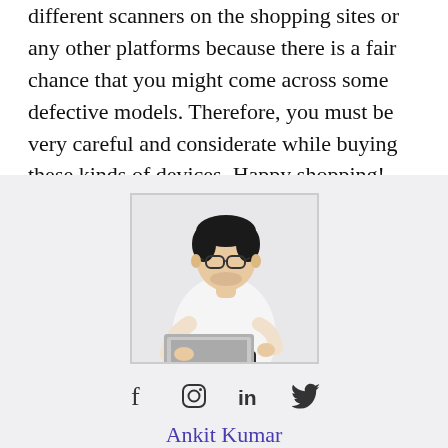different scanners on the shopping sites or any other platforms because there is a fair chance that you might come across some defective models. Therefore, you must be very careful and considerate while buying these kinds of devices. Happy shopping!
[Figure (photo): Author photo: a young man with glasses wearing a white shirt, holding a laptop, standing against a white background, inside a bordered photo frame on a light grey background.]
Ankit Kumar